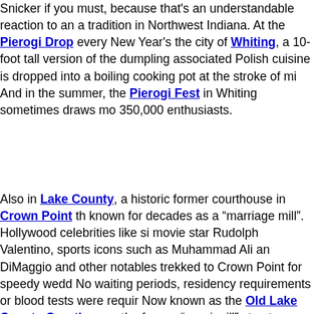Snicker if you must, because that's an understandable reaction to an a tradition in Northwest Indiana. At the Pierogi Drop every New Year's the city of Whiting, a 10-foot tall version of the dumpling associated Polish cuisine is dropped into a boiling cooking pot at the stroke of mi And in the summer, the Pierogi Fest in Whiting sometimes draws mo 350,000 enthusiasts.
Also in Lake County, a historic former courthouse in Crown Point th known for decades as a "marriage mill". Hollywood celebrities like si movie star Rudolph Valentino, sports icons such as Muhammad Ali an DiMaggio and other notables trekked to Crown Point for speedy wedd No waiting periods, residency requirements or blood tests were requir Now known as the Old Lake County Courthouse, the former "marri mill" structure, which was built in 1878, is a tourist destination that ho museum and distinctive retailers, including antique shops as well as merchants who sell vinyl records and vintage clothes.